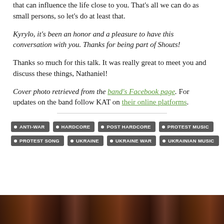that can influence the life close to you. That's all we can do as small persons, so let's do at least that.
Kyrylo, it's been an honor and a pleasure to have this conversation with you. Thanks for being part of Shouts!
Thanks so much for this talk. It was really great to meet you and discuss these things, Nathaniel!
Cover photo retrieved from the band's Facebook page. For updates on the band follow KAT on their online platforms.
ANTI-WAR
HARDCORE
POST HARDCORE
PROTEST MUSIC
PROTEST SONG
UKRAINE
UKRAINE WAR
UKRAINIAN MUSIC
[Figure (photo): Bottom strip showing a dark brown/sepia toned photograph of a person with curly hair, partially visible at the bottom of the page]